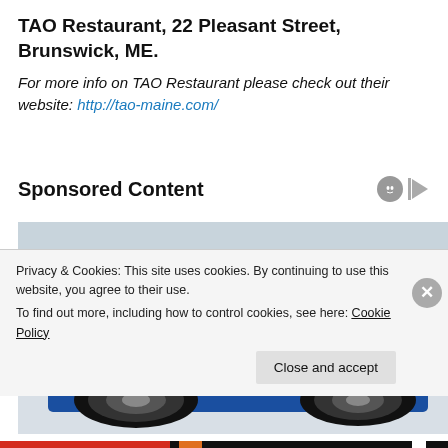TAO Restaurant, 22 Pleasant Street, Brunswick, ME.
For more info on TAO Restaurant please check out their website: http://tao-maine.com/
Sponsored Content
[Figure (photo): Blue pickup truck (RAM-style) with blacked-out hood and roof lights, photographed from a front-three-quarter angle against a light background]
Privacy & Cookies: This site uses cookies. By continuing to use this website, you agree to their use.
To find out more, including how to control cookies, see here: Cookie Policy
Close and accept